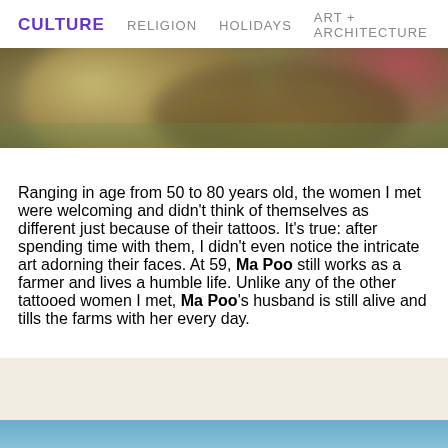CULTURE   RELIGION   HOLIDAYS   ART + ARCHITECTURE
[Figure (photo): Close-up blurred photo of colorful objects, warm tones with pink and brown elements]
Ranging in age from 50 to 80 years old, the women I met were welcoming and didn't think of themselves as different just because of their tattoos. It's true: after spending time with them, I didn't even notice the intricate art adorning their faces. At 59, Ma Poo still works as a farmer and lives a humble life. Unlike any of the other tattooed women I met, Ma Poo's husband is still alive and tills the farms with her every day.
[Figure (photo): Outdoor scene with blue sky and vegetation at the bottom of the page]